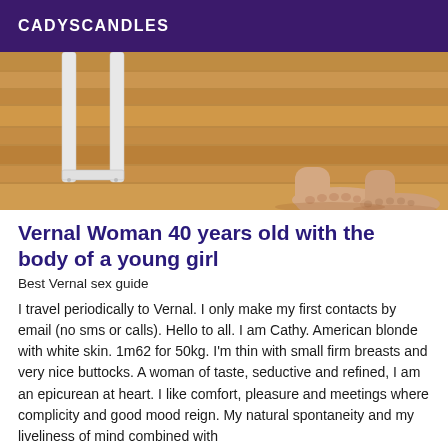CADYSCANDLES
[Figure (photo): Photo of feet and lower legs standing on a wooden floor, with a white wooden furniture piece (shelf or stool legs) visible on the left side.]
Vernal Woman 40 years old with the body of a young girl
Best Vernal sex guide
I travel periodically to Vernal. I only make my first contacts by email (no sms or calls). Hello to all. I am Cathy. American blonde with white skin. 1m62 for 50kg. I'm thin with small firm breasts and very nice buttocks. A woman of taste, seductive and refined, I am an epicurean at heart. I like comfort, pleasure and meetings where complicity and good mood reign. My natural spontaneity and my liveliness of mind combined with